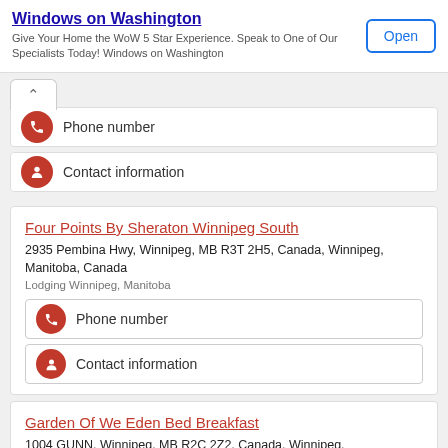[Figure (other): Ad banner for Windows on Washington with Open button]
Phone number
Contact information
Four Points By Sheraton Winnipeg South
2935 Pembina Hwy, Winnipeg, MB R3T 2H5, Canada, Winnipeg, Manitoba, Canada
Lodging Winnipeg, Manitoba
Phone number
Contact information
Garden Of We Eden Bed Breakfast
1004 GUNN, Winnipeg, MB R2C 2Z2, Canada, Winnipeg,